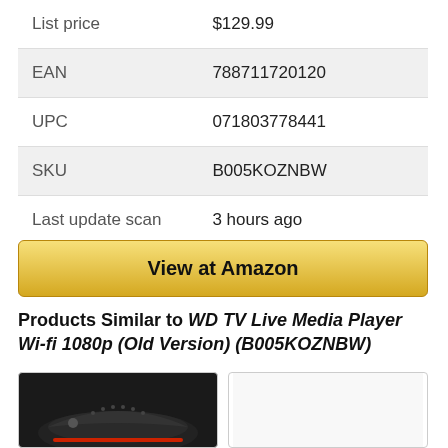| Field | Value |
| --- | --- |
| List price | $129.99 |
| EAN | 788711720120 |
| UPC | 071803778441 |
| SKU | B005KOZNBW |
| Last update scan | 3 hours ago |
| Last tracked | on Jul 10, 2021 |
View at Amazon
Products Similar to WD TV Live Media Player Wi-fi 1080p (Old Version) (B005KOZNBW)
[Figure (photo): Photo of a black media player device (WD TV Live) against dark background]
[Figure (photo): Second product image placeholder, white/blank]